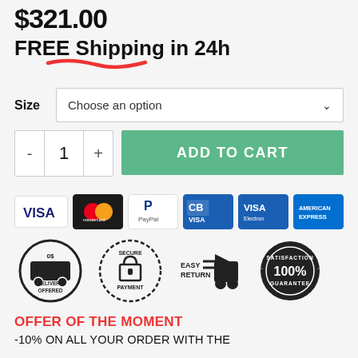$321.00
FREE Shipping in 24h
Size  Choose an option
- 1 +  ADD TO CART
[Figure (logo): Payment method logos: Visa, Mastercard, PayPal, CB Visa, Visa Electron, American Express]
[Figure (infographic): Trust badges: Delivery Offered, Secure Payment, Easy Return, 100% Satisfaction Guarantee]
OFFER OF THE MOMENT
-10% ON ALL YOUR ORDER WITH THE